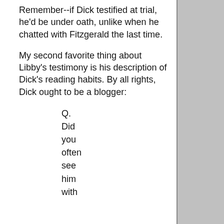Remember--if Dick testified at trial, he'd be under oath, unlike when he chatted with Fitzgerald the last time.
My second favorite thing about Libby's testimony is his description of Dick's reading habits. By all rights, Dick ought to be a blogger:
Q. Did you often see him with